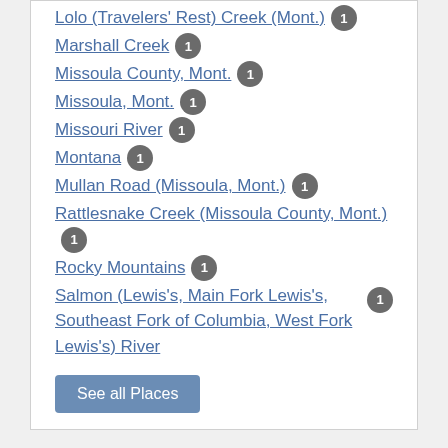Lolo (Travelers' Rest) Creek (Mont.) 1
Marshall Creek 1
Missoula County, Mont. 1
Missoula, Mont. 1
Missouri River 1
Montana 1
Mullan Road (Missoula, Mont.) 1
Rattlesnake Creek (Missoula County, Mont.) 1
Rocky Mountains 1
Salmon (Lewis's, Main Fork Lewis's, Southeast Fork of Columbia, West Fork Lewis's) River 1
See all Places
State